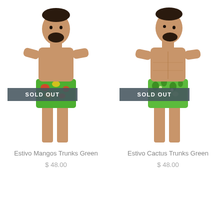[Figure (photo): Male model wearing green tropical mango-print swim trunks with SOLD OUT badge overlay]
Estivo Mangos Trunks Green
$ 48.00
[Figure (photo): Male model wearing green cactus-print swim trunks with SOLD OUT badge overlay]
Estivo Cactus Trunks Green
$ 48.00